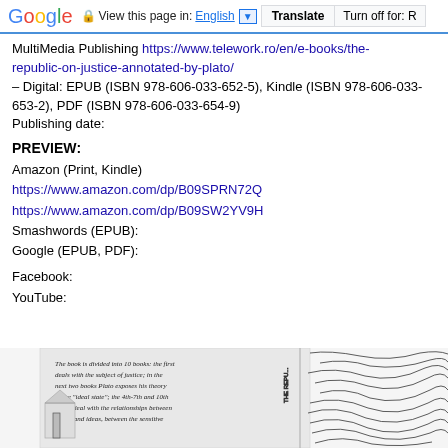Google | View this page in: English [▼] | Translate | Turn off for: R
MultiMedia Publishing https://www.telework.ro/en/e-books/the-republic-on-justice-annotated-by-plato/ – Digital: EPUB (ISBN 978-606-033-652-5), Kindle (ISBN 978-606-033-653-2), PDF (ISBN 978-606-033-654-9) Publishing date:
PREVIEW:
Amazon (Print, Kindle)
https://www.amazon.com/dp/B09SPRN72Q
https://www.amazon.com/dp/B09SW2YV9H
Smashwords (EPUB):
Google (EPUB, PDF):
Facebook:
YouTube:
[Figure (illustration): Book cover image of 'The Republic' showing classical illustration with text overlay describing book contents]